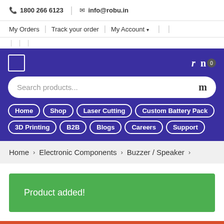📞 1800 266 6123 | ✉ info@robu.in
My Orders | Track your order | My Account ▾
[Figure (screenshot): Purple navigation bar with search box, nav pills: Home, Shop, Laser Cutting, Custom Battery Pack, 3D Printing, B2B, Blogs, Careers, Support]
Home › Electronic Components › Buzzer / Speaker ›
Product added!